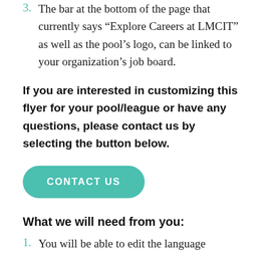3. The bar at the bottom of the page that currently says “Explore Careers at LMCIT” as well as the pool’s logo, can be linked to your organization’s job board.
If you are interested in customizing this flyer for your pool/league or have any questions, please contact us by selecting the button below.
[Figure (other): A teal/green rounded rectangle button labeled CONTACT US in white uppercase bold text]
What we will need from you:
1. You will be able to edit the language